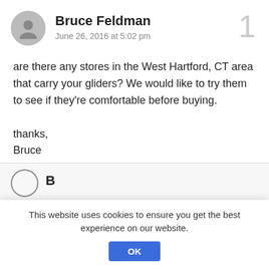Bruce Feldman
June 26, 2016 at 5:02 pm
are there any stores in the West Hartford, CT area that carry your gliders? We would like to try them to see if they're comfortable before buying.

thanks,
Bruce
Reply
This website uses cookies to ensure you get the best experience on our website.
OK